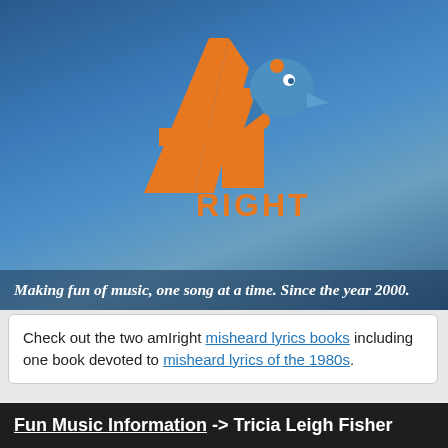[Figure (logo): AmIright logo with orange stylized 'ami' text and blue bird/penguin mascot, with 'RIGHT' text below in orange, on a blue gradient background]
Making fun of music, one song at a time. Since the year 2000.
Check out the two amIright misheard lyrics books including one book devoted to misheard lyrics of the 1980s.
Fun Music Information -> Tricia Leigh Fisher
[Figure (photo): Photo of Tricia Leigh Fisher]
This is the most recent information about Tricia Leigh Fisher that has been submitted to amIright. If we